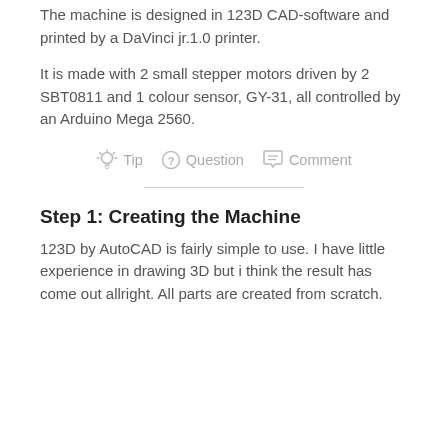The machine is designed in 123D CAD-software and printed by a DaVinci jr.1.0 printer.
It is made with 2 small stepper motors driven by 2 SBT0811 and 1 colour sensor, GY-31, all controlled by an Arduino Mega 2560.
Tip   Question   Comment
Step 1: Creating the Machine
123D by AutoCAD is fairly simple to use. I have little experience in drawing 3D but i think the result has come out allright. All parts are created from scratch.